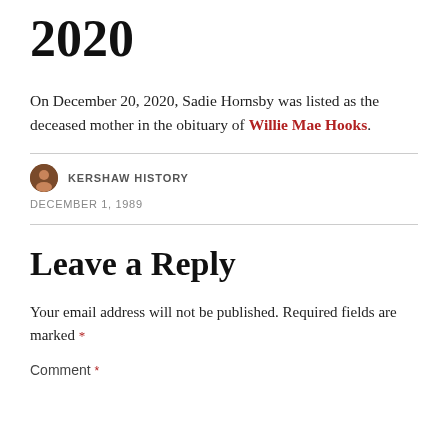2020
On December 20, 2020, Sadie Hornsby was listed as the deceased mother in the obituary of Willie Mae Hooks.
KERSHAW HISTORY
DECEMBER 1, 1989
Leave a Reply
Your email address will not be published. Required fields are marked *
Comment *